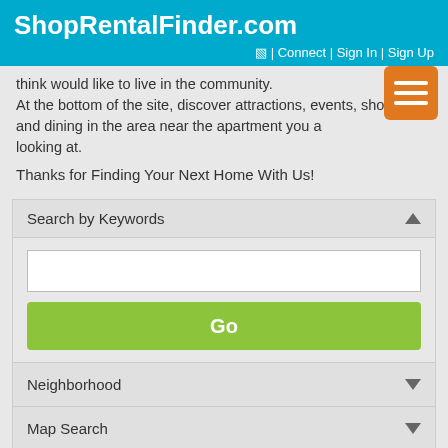ShopRentalFinder.com
Connect | Sign In | Sign Up
think would like to live in the community. At the bottom of the site, discover attractions, events, shopping, and dining in the area near the apartment you are looking at.
Thanks for Finding Your Next Home With Us!
Search by Keywords
Neighborhood
Map Search
Advanced Search